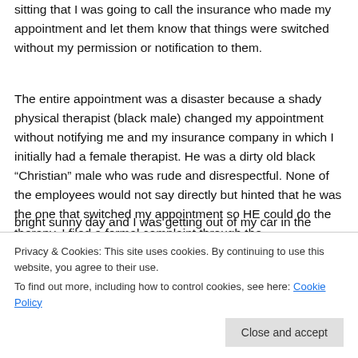sitting that I was going to call the insurance who made my appointment and let them know that things were switched without my permission or notification to them.
The entire appointment was a disaster because a shady physical therapist (black male) changed my appointment without notifying me and my insurance company in which I initially had a female therapist. He was a dirty old black “Christian” male who was rude and disrespectful. None of the employees would not say directly but hinted that he was the one that switched my appointment so HE could do the therapy. I filed a formal complaint through the
bright sunny day and I was getting out of my car in the
Privacy & Cookies: This site uses cookies. By continuing to use this website, you agree to their use.
To find out more, including how to control cookies, see here: Cookie Policy